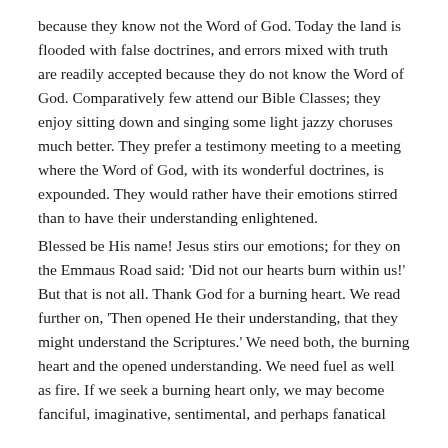because they know not the Word of God. Today the land is flooded with false doctrines, and errors mixed with truth are readily accepted because they do not know the Word of God. Comparatively few attend our Bible Classes; they enjoy sitting down and singing some light jazzy choruses much better. They prefer a testimony meeting to a meeting where the Word of God, with its wonderful doctrines, is expounded. They would rather have their emotions stirred than to have their understanding enlightened. Blessed be His name! Jesus stirs our emotions; for they on the Emmaus Road said: 'Did not our hearts burn within us!' But that is not all. Thank God for a burning heart. We read further on, 'Then opened He their understanding, that they might understand the Scriptures.' We need both, the burning heart and the opened understanding. We need fuel as well as fire. If we seek a burning heart only, we may become fanciful, imaginative, sentimental, and perhaps fanatical